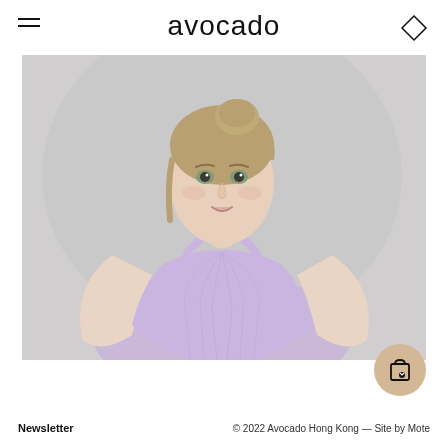avocado
[Figure (photo): Young woman with light brown hair in a bun, wearing a light purple/lavender ribbed halter crop top, posing with hands on hips against a light grey background.]
Newsletter   © 2022 Avocado Hong Kong — Site by Mote